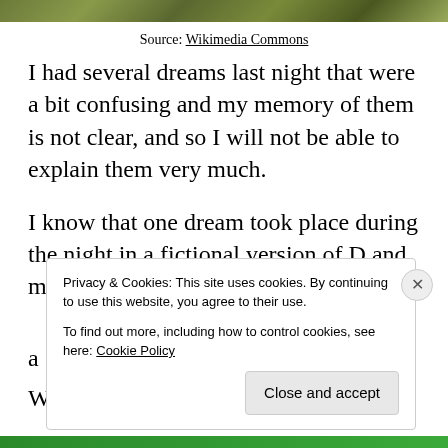[Figure (photo): Cropped photo showing camouflage or foliage pattern in green and brown tones at the top of the page]
Source: Wikimedia Commons
I had several dreams last night that were a bit confusing and my memory of them is not clear, and so I will not be able to explain them very much.
I know that one dream took place during the night in a fictional version of D and maybe in a... W...
Privacy & Cookies: This site uses cookies. By continuing to use this website, you agree to their use.
To find out more, including how to control cookies, see here: Cookie Policy
Close and accept